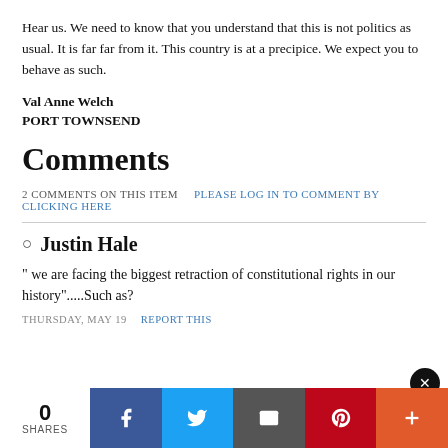Hear us. We need to know that you understand that this is not politics as usual. It is far far from it. This country is at a precipice. We expect you to behave as such.
Val Anne Welch
PORT TOWNSEND
Comments
2 COMMENTS ON THIS ITEM   PLEASE LOG IN TO COMMENT BY CLICKING HERE
Justin Hale
" we are facing the biggest retraction of constitutional rights in our history".....Such as?
THURSDAY, MAY 19   REPORT THIS